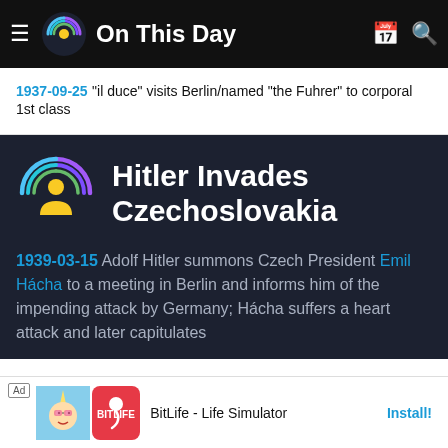On This Day
1937-09-25 "il duce" visits Berlin/named "the Fuhrer" to corporal 1st class
Hitler Invades Czechoslovakia
1939-03-15 Adolf Hitler summons Czech President Emil Hácha to a meeting in Berlin and informs him of the impending attack by Germany; Hácha suffers a heart attack and later capitulates
Ad BitLife - Life Simulator Install!